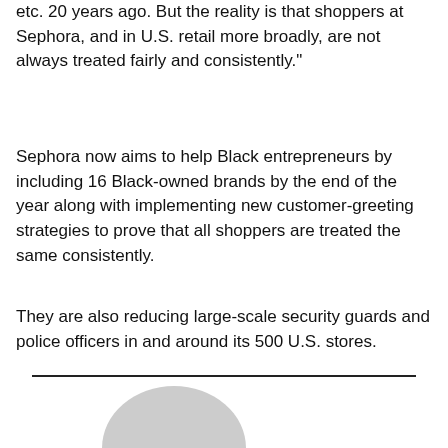etc. 20 years ago. But the reality is that shoppers at Sephora, and in U.S. retail more broadly, are not always treated fairly and consistently."
Sephora now aims to help Black entrepreneurs by including 16 Black-owned brands by the end of the year along with implementing new customer-greeting strategies to prove that all shoppers are treated the same consistently.
They are also reducing large-scale security guards and police officers in and around its 500 U.S. stores.
[Figure (illustration): Partial view of a circular avatar/profile image (gray circle, top half visible) at the bottom of the page, below a horizontal divider line.]